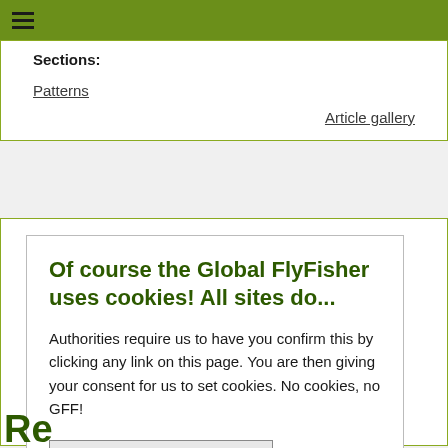≡ (hamburger menu icon)
Sections:
Patterns
Article gallery
Of course the Global FlyFisher uses cookies! All sites do...
Authorities require us to have you confirm this by clicking any link on this page. You are then giving your consent for us to set cookies. No cookies, no GFF!
More about privacy and cookies
OK, I agree
Re